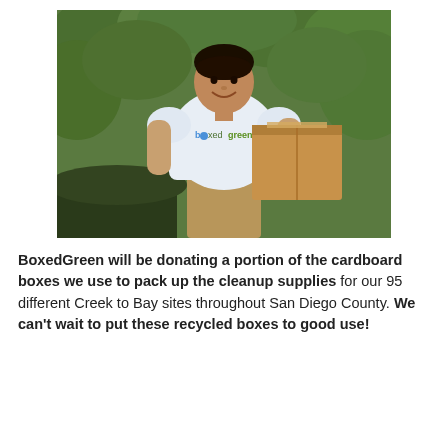[Figure (photo): A young man smiling, wearing a white BoxedGreen t-shirt, holding a cardboard box under his arm. He is standing in front of green foliage/bushes.]
BoxedGreen will be donating a portion of the cardboard boxes we use to pack up the cleanup supplies for our 95 different Creek to Bay sites throughout San Diego County. We can't wait to put these recycled boxes to good use!